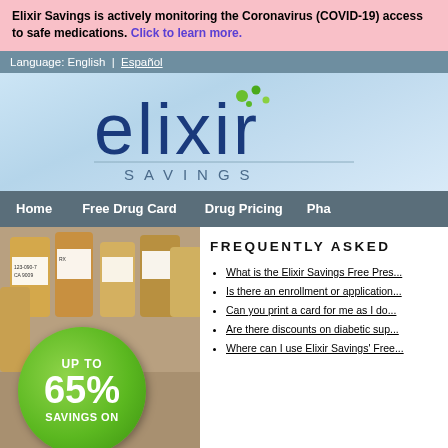Elixir Savings is actively monitoring the Coronavirus (COVID-19) access to safe medications. Click to learn more.
Language: English | Español
[Figure (logo): Elixir Savings logo with stylized text 'elixir' in dark blue and 'SAVINGS' below, with green bubble dots above the letter 'x']
Home   Free Drug Card   Drug Pricing   Pha...
[Figure (photo): Prescription pill bottles in background with a green circular badge showing 'UP TO 65% SAVINGS ON']
FREQUENTLY ASKED
What is the Elixir Savings Free Pres...
Is there an enrollment or application...
Can you print a card for me as I do...
Are there discounts on diabetic sup...
Where can I use Elixir Savings' Free...